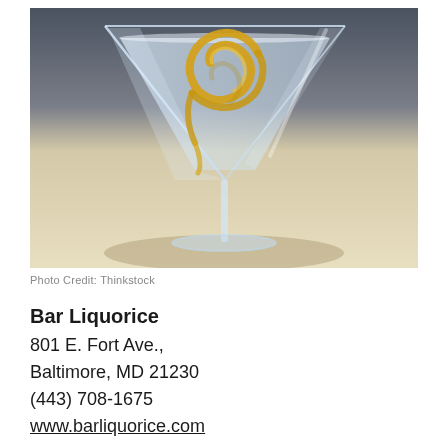[Figure (photo): A martini glass with a lemon twist garnish, photographed on a light background with a dark upper portion. The glass contains clear liquid and a spiral lemon peel.]
Photo Credit: Thinkstock
Bar Liquorice
801 E. Fort Ave.,
Baltimore, MD 21230
(443) 708-1675
www.barliquorice.com